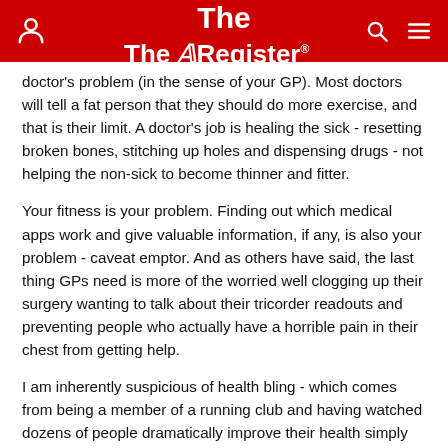The Register
doctor's problem (in the sense of your GP). Most doctors will tell a fat person that they should do more exercise, and that is their limit. A doctor's job is healing the sick - resetting broken bones, stitching up holes and dispensing drugs - not helping the non-sick to become thinner and fitter.
Your fitness is your problem. Finding out which medical apps work and give valuable information, if any, is also your problem - caveat emptor. And as others have said, the last thing GPs need is more of the worried well clogging up their surgery wanting to talk about their tricorder readouts and preventing people who actually have a horrible pain in their chest from getting help.
I am inherently suspicious of health bling - which comes from being a member of a running club and having watched dozens of people dramatically improve their health simply by paying 50p a time to run with others.